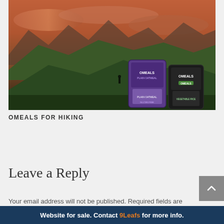[Figure (photo): Mountain landscape at sunset with orange/purple sky, green hillsides, a hiker visible in the distance, and two OMEALS product packages (Plain Oatmeal in purple and another in black/green) overlaid in the foreground right]
OMEALS FOR HIKING
Leave a Reply
Your email address will not be published. Required fields are
Website for sale. Contact 9Leafs for more info.